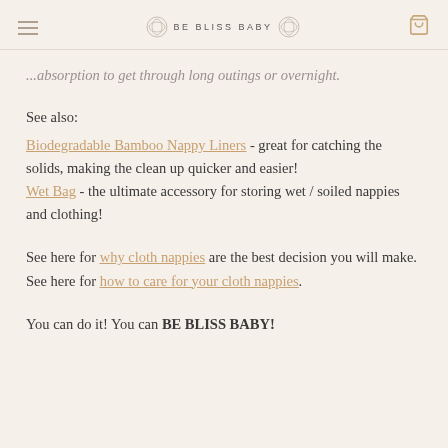BE BLISS BABY
...absorption to get through long outings or overnight.
See also:
Biodegradable Bamboo Nappy Liners - great for catching the solids, making the clean up quicker and easier!
Wet Bag - the ultimate accessory for storing wet / soiled nappies and clothing!
See here for why cloth nappies are the best decision you will make. See here for how to care for your cloth nappies.
You can do it! You can BE BLISS BABY!